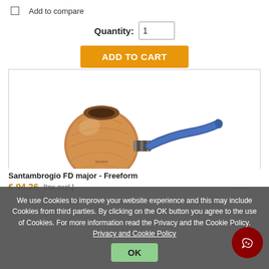Add to compare
Quantity: 1
ADD TO CART
[Figure (photo): Santambrogio FD major Freeform tobacco pipe with brown briar bowl and blue acrylic/resin mouthpiece, displayed against white background]
Santambrogio FD major - Freeform
€ 94,26 [tax excl.]
We use Cookies to improve your website experience and this may include Cookies from third parties. By clicking on the OK button you agree to the use of Cookies. For more information read the Privacy and the Cookie Policy. Privacy and Cookie Policy